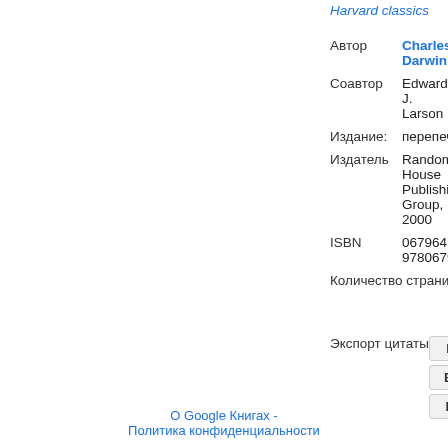Harvard classics
| Поле | Значение |
| --- | --- |
| Автор | Charles Darwin |
| Соавтор | Edward J. Larson |
| Издание: | перепечатанное |
| Издатель | Random House Publishing Group, 2000 |
| ISBN | 0679641300, 9780679641300 |
| Количество страниц | Всего страниц: 720 |
Экспорт цитаты
BiBTeX
EndNote
RefMan
О Google Книгах - Политика конфиденциальности